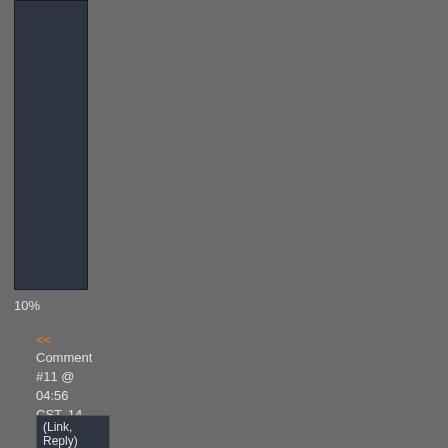[Figure (other): Dark navy/slate colored rectangular panel in the upper left area of the page, representing a sidebar UI element]
10%
<<
Comment #11 @ 04:56 CST, 14 December 2017
>>
(Link, Reply)